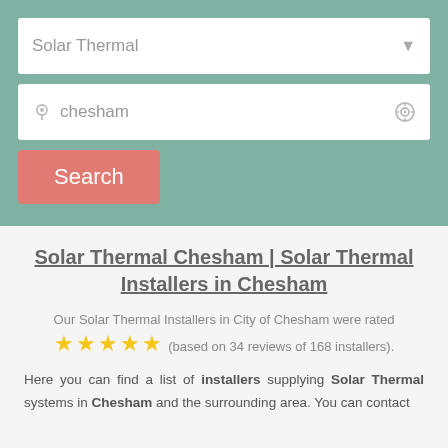[Figure (screenshot): Search interface with two input fields (Solar Thermal dropdown, chesham location) and a Search button on a teal/green background]
Solar Thermal Chesham | Solar Thermal Installers in Chesham
Our Solar Thermal Installers in City of Chesham were rated
★★★★★ (based on 34 reviews of 168 installers).
Here you can find a list of installers supplying Solar Thermal systems in Chesham and the surrounding area. You can contact